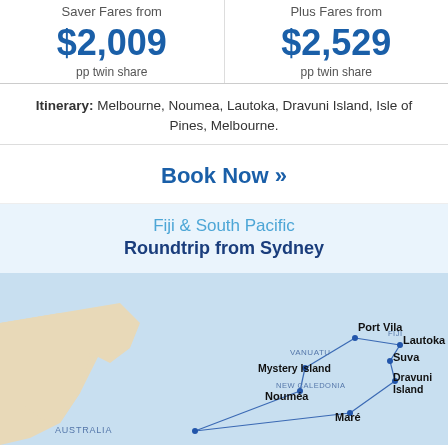Saver Fares from $2,009 pp twin share
Plus Fares from $2,529 pp twin share
Itinerary: Melbourne, Noumea, Lautoka, Dravuni Island, Isle of Pines, Melbourne.
Book Now »
Fiji & South Pacific Roundtrip from Sydney
[Figure (map): Cruise route map showing South Pacific region with labeled stops: Port Vila, VANUATU, FIJI, Lautoka, Mystery Island, Suva, NEW CALEDONIA, Dravuni Island, Nouméa, Maré, AUSTRALIA, with route lines connecting ports.]